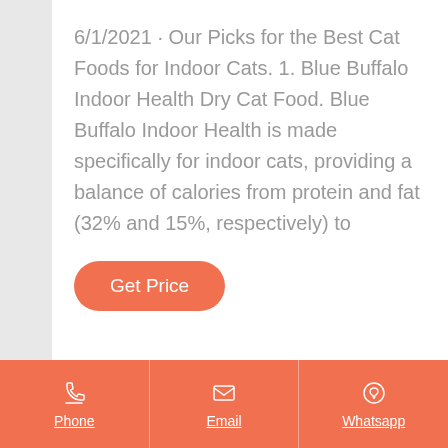6/1/2021 · Our Picks for the Best Cat Foods for Indoor Cats. 1. Blue Buffalo Indoor Health Dry Cat Food. Blue Buffalo Indoor Health is made specifically for indoor cats, providing a balance of calories from protein and fat (32% and 15%, respectively) to
[Figure (other): Orange rounded button labeled 'Get Price']
Phone | Email | Whatsapp